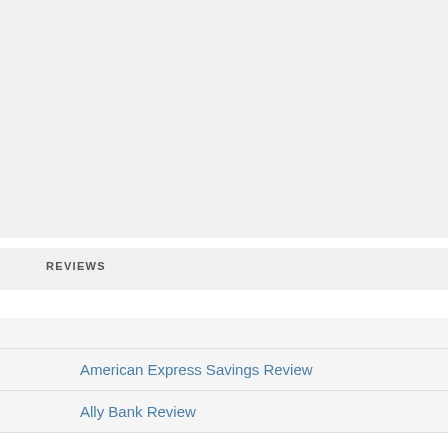[Figure (other): Grey placeholder block at the top of the page]
REVIEWS
American Express Savings Review
Ally Bank Review